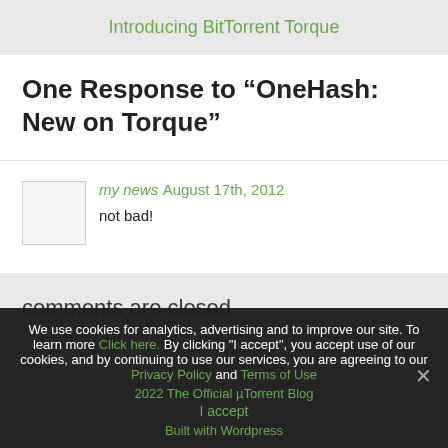Introducing BitTorrent Torque
One Response to “OneHash: New on Torque”
my news August 17th, 2012
not bad!
comments are closed
We use cookies for analytics, advertising and to improve our site. To learn more Click here. By clicking "I accept", you accept use of our cookies, and by continuing to use our services, you are agreeing to our Privacy Policy and Terms of Use
2022 The Official µTorrent Blog
Built with Wordpress
I accept